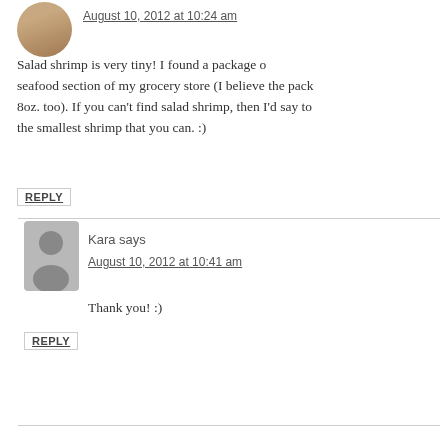August 10, 2012 at 10:24 am
Salad shrimp is very tiny! I found a package of seafood section of my grocery store (I believe the pack 8oz. too). If you can't find salad shrimp, then I'd say to the smallest shrimp that you can. :)
REPLY
Kara says
August 10, 2012 at 10:41 am
Thank you! :)
REPLY